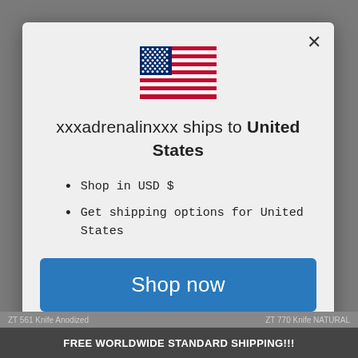[Figure (illustration): US flag icon centered at top of modal dialog]
xxxadrenalinxxx ships to United States
Shop in USD $
Get shipping options for United States
Shop now
Change shipping country
FREE WORLDWIDE STANDARD SHIPPING!!!